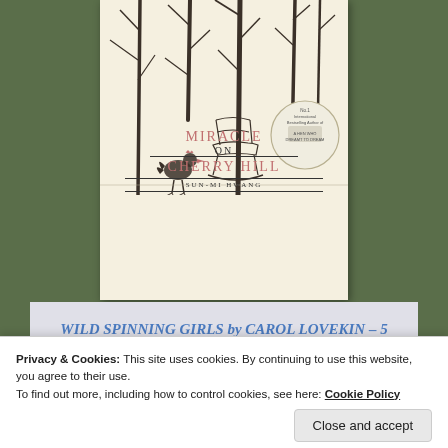[Figure (illustration): Book cover for 'Miracle on Cherry Hill' by Sun-Mi Hwang. Cover shows a minimalist ink illustration of bare trees, a rocking chair, and a rooster on a cream/off-white background. A circular badge in the bottom right reads 'No.1 International Bestselling Author of A Hen Who Dreamt to Dream'. The title 'MIRACLE ON CHERRY HILL' is in pink/salmon serif text, with author name 'SUN-MI HWANG' below in small caps.]
WILD SPINNING GIRLS by CAROL LOVEKIN – 5 STARS
Privacy & Cookies: This site uses cookies. By continuing to use this website, you agree to their use.
To find out more, including how to control cookies, see here: Cookie Policy